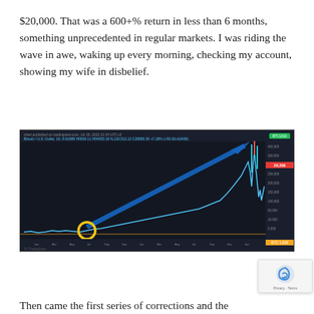$20,000. That was a 600+% return in less than 6 months, something unprecedented in regular markets. I was riding the wave in awe, waking up every morning, checking my account, showing my wife in disbelief.
[Figure (screenshot): A TradingView screenshot of a Bitcoin price chart on a dark background, showing a dramatic upward price movement. A large blue arrow points from bottom-left (where a yellow circle marks the entry point) to the top-right peak of the chart, illustrating the 600+% gain. The right side shows a sharp price spike.]
Then came the first series of corrections and the